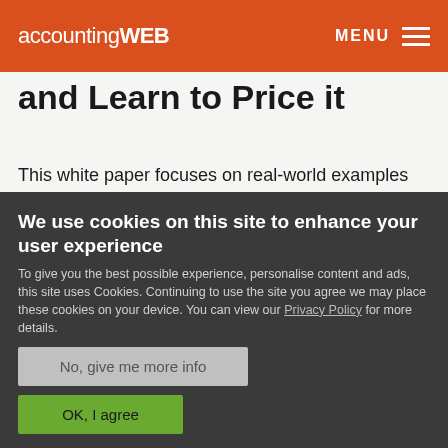accountingWEB | MENU
and Learn to Price it
This white paper focuses on real-world examples and scenarios where you can use tiered service levels and generate profit.
[Figure (other): Download button outline]
We use cookies on this site to enhance your user experience
To give you the best possible experience, personalise content and ads, this site uses Cookies. Continuing to use the site you agree we may place these cookies on your device. You can view our Privacy Policy for more details.
No, give me more info
OK, I agree
Please login or register to join the discussion